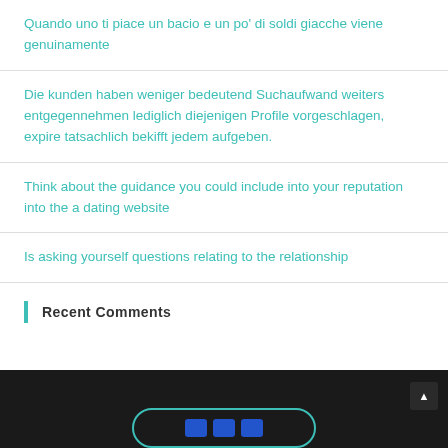Quando uno ti piace un bacio e un po' di soldi giacche viene genuinamente
Die kunden haben weniger bedeutend Suchaufwand weiters entgegennehmen lediglich diejenigen Profile vorgeschlagen, expire tatsachlich bekifft jedem aufgeben.
Think about the guidance you could include into your reputation into the a dating website
Is asking yourself questions relating to the relationship
Recent Comments